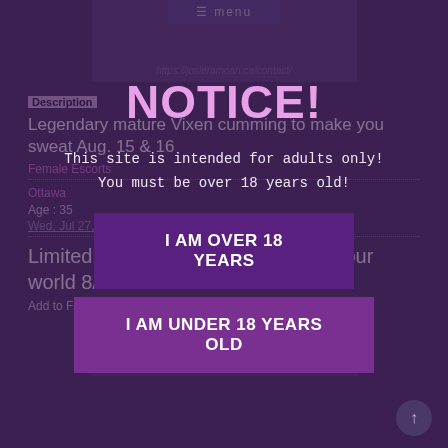[Figure (screenshot): Screenshot of an adult escort listing website with a notice/age verification overlay. Background shows listing details including description, category, location, and a second listing title. Overlay shows NOTICE! warning with age verification buttons.]
Description
Legendary mature Vixen cumming to make you sweat Aug. 15 & 16
Female Escorts
Ottawa
Age : 35
Wed, Jul 27, 12:59 pm
Limited availability, looking to rock your world 8/17-19 discount ends 8/12
Add to Favorites
NOTICE!
This site is intended for adults only!
You must be over 18 years old!
I AM OVER 18 YEARS
I AM UNDER 18 YEARS OLD